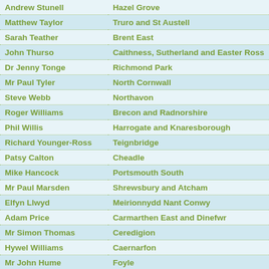| Name | Constituency |
| --- | --- |
| Andrew Stunell | Hazel Grove |
| Matthew Taylor | Truro and St Austell |
| Sarah Teather | Brent East |
| John Thurso | Caithness, Sutherland and Easter Ross |
| Dr Jenny Tonge | Richmond Park |
| Mr Paul Tyler | North Cornwall |
| Steve Webb | Northavon |
| Roger Williams | Brecon and Radnorshire |
| Phil Willis | Harrogate and Knaresborough |
| Richard Younger-Ross | Teignbridge |
| Patsy Calton | Cheadle |
| Mike Hancock | Portsmouth South |
| Mr Paul Marsden | Shrewsbury and Atcham |
| Elfyn Llwyd | Meirionnydd Nant Conwy |
| Adam Price | Carmarthen East and Dinefwr |
| Mr Simon Thomas | Ceredigion |
| Hywel Williams | Caernarfon |
| Mr John Hume | Foyle |